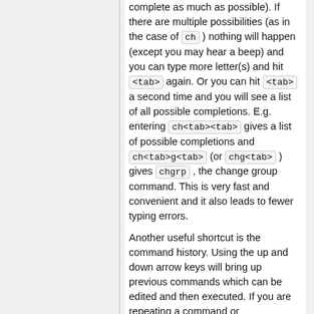complete as much as possible). If there are multiple possibilities (as in the case of ch ) nothing will happen (except you may hear a beep) and you can type more letter(s) and hit <tab> again. Or you can hit <tab> a second time and you will see a list of all possible completions. E.g. entering ch<tab><tab> gives a list of possible completions and ch<tab>g<tab> (or chg<tab> ) gives chgrp , the change group command. This is very fast and convenient and it also leads to fewer typing errors.
Another useful shortcut is the command history. Using the up and down arrow keys will bring up previous commands which can be edited and then executed. If you are repeating a command or...